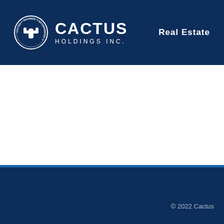[Figure (logo): Cactus Holdings Inc. circular logo with cactus illustration and company text around the border]
CACTUS HOLDINGS INC.
Real Estate
© 2022 Cactus